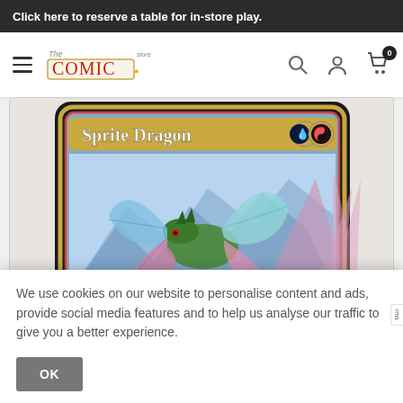Click here to reserve a table for in-store play.
[Figure (screenshot): Website navigation bar with hamburger menu, The Comic Store logo, search icon, account icon, and cart icon with badge showing 0]
[Figure (photo): Magic: The Gathering card 'Sprite Dragon' showing a colorful dragon with butterfly-like wings in a fantasy landscape. Blue and red mana symbols visible. Bottom strip shows 'Flying, haste' text.]
We use cookies on our website to personalise content and ads, provide social media features and to help us analyse our traffic to give you a better experience.
OK